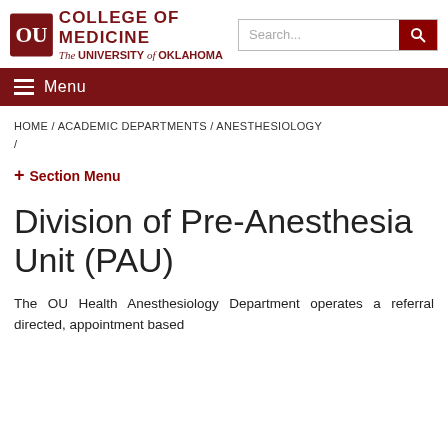[Figure (logo): University of Oklahoma College of Medicine logo with OU interlocked letters and text 'COLLEGE OF MEDICINE / The University of Oklahoma']
HOME / ACADEMIC DEPARTMENTS / ANESTHESIOLOGY /
+ Section Menu
Division of Pre-Anesthesia Unit (PAU)
The OU Health Anesthesiology Department operates a referral directed, appointment based